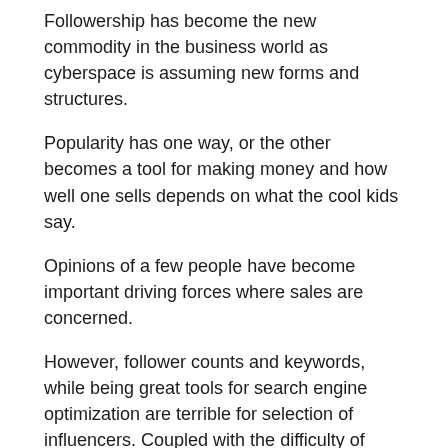Followership has become the new commodity in the business world as cyberspace is assuming new forms and structures.
Popularity has one way, or the other becomes a tool for making money and how well one sells depends on what the cool kids say.
Opinions of a few people have become important driving forces where sales are concerned.
However, follower counts and keywords, while being great tools for search engine optimization are terrible for selection of influencers. Coupled with the difficulty of measurement of return on investment, the wide variance in results and a manual process used in the discovery of influence all serve as big problems which businesses face when engaging the use of influencers in marketing.